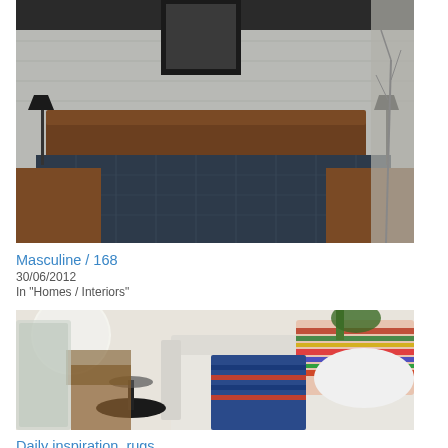[Figure (photo): Bedroom interior with dark plaid bedding on a wood-framed bed, white brick wall, black desk lamps on wooden nightstands, and bare branches in vase]
Masculine / 168
30/06/2012
In "Homes / Interiors"
[Figure (photo): Living room interior with white sofa, colorful striped and embroidered cushions, white fluffy pillow, round black side table, wooden chairs, large round pendant light, and potted plant]
Daily inspiration, rugs
03/09/2013